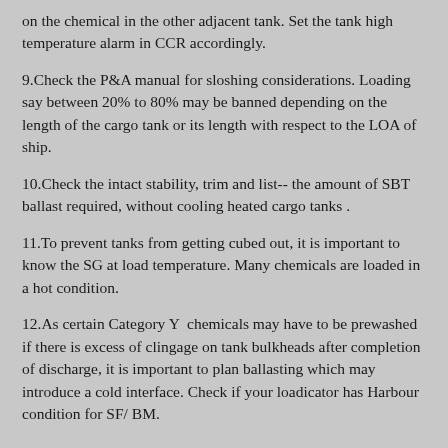on the chemical in the other adjacent tank. Set the tank high temperature alarm in CCR accordingly.
9.Check the P&A manual for sloshing considerations. Loading say between 20% to 80% may be banned depending on the length of the cargo tank or its length with respect to the LOA of ship.
10.Check the intact stability, trim and list-- the amount of SBT ballast required, without cooling heated cargo tanks .
11.To prevent tanks from getting cubed out, it is important to know the SG at load temperature. Many chemicals are loaded in a hot condition.
12.As certain Category Y  chemicals may have to be prewashed if there is excess of clingage on tank bulkheads after completion of discharge, it is important to plan ballasting which may introduce a cold interface. Check if your loadicator has Harbour condition for SF/ BM.